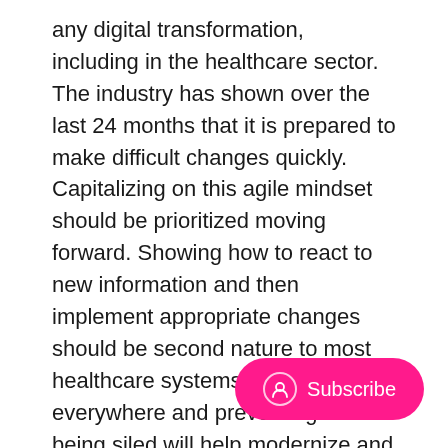any digital transformation, including in the healthcare sector. The industry has shown over the last 24 months that it is prepared to make difficult changes quickly. Capitalizing on this agile mindset should be prioritized moving forward. Showing how to react to new information and then implement appropriate changes should be second nature to most healthcare systems. Innovation is everywhere and preventing it from being siled will help modernize and transform the digital landscape in healthcare organizations around the world.
The future will be digital. It will be fast, it will be mobile, it will be agile, and most importantly, it will be technology-based. Accelerating the process starts by changing mindsets and changing legacy systems. With a sector that has lost so much revenue, with predictions of $53 billion lost in 2021, advancing